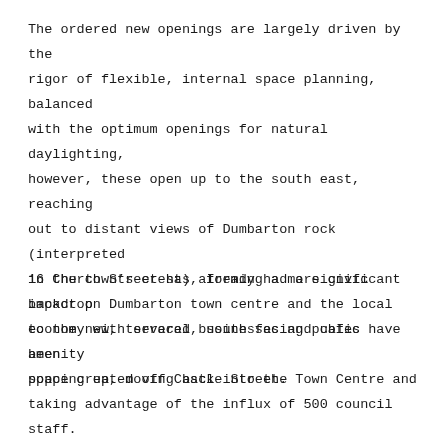The ordered new openings are largely driven by the rigor of flexible, internal space planning, balanced with the optimum openings for natural daylighting, however, these open up to the south east, reaching out to distant views of Dumbarton rock (interpreted in the town's crest), forming a more civic backdrop to the new, terraced, south facing public amenity space created off Castle Street.
16 Church Street has already had a significant impact on Dumbarton town centre and the local economy with several businesses and cafes have been popping up, moving back into the Town Centre and taking advantage of the influx of 500 council staff. This ratifies the strategic decision by West